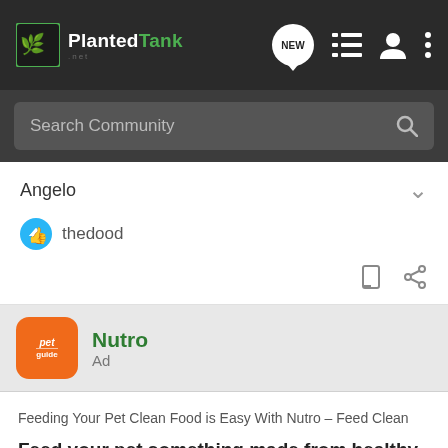[Figure (screenshot): PlantedTank website navigation bar with logo on left and icons (NEW chat bubble, list, user, more) on right]
Search Community
Angelo
thedood
Nutro
Ad
Feeding Your Pet Clean Food is Easy With Nutro – Feed Clean
Feed your pet something made from healthy, quality ingredients, and formulated to meet all of their nutritional needs
[Figure (photo): Partial photo of a dog, black and white, at bottom of page]